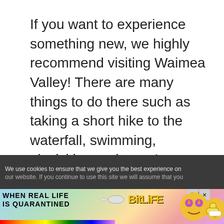If you want to experience something new, we highly recommend visiting Waimea Valley! There are many things to do there such as taking a short hike to the waterfall, swimming, picnicking and more!
We use cookies to ensure that we give you the best experience on our website. If you continue to use this site we will assume that you
[Figure (screenshot): BitLife mobile game advertisement banner with text 'WHEN REAL LIFE IS QUARANTINED' and BitLife logo with colorful game characters]